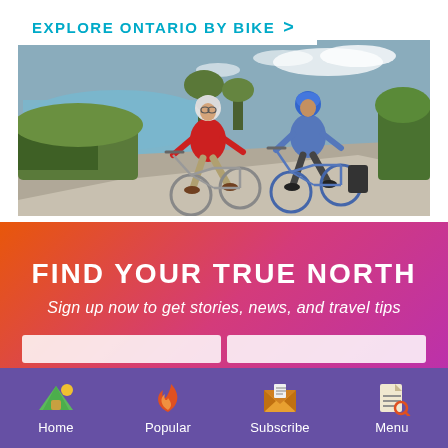EXPLORE ONTARIO BY BIKE >
[Figure (photo): Two cyclists riding on a paved path beside a lake or river, surrounded by trees and vegetation. One person wears a red jacket and grey pants with a white helmet, the other wears a blue long-sleeve shirt with a blue helmet. Scenic outdoor landscape.]
FIND YOUR TRUE NORTH
Sign up now to get stories, news, and travel tips
Home  Popular  Subscribe  Menu